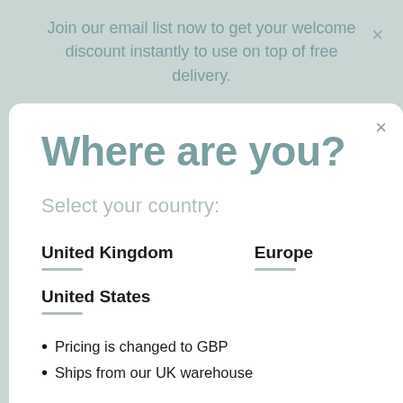Join our email list now to get your welcome discount instantly to use on top of free delivery.
Where are you?
Select your country:
United Kingdom
Europe
United States
Pricing is changed to GBP
Ships from our UK warehouse